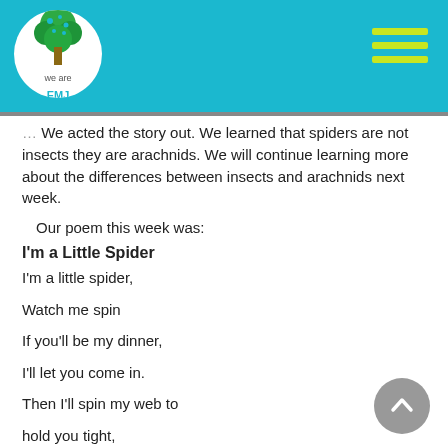We Are EMJ – school page header with logo and navigation menu
out. We acted the story out. We learned that spiders are not insects they are arachnids. We will continue learning more about the differences between insects and arachnids next week.
Our poem this week was:
I'm a Little Spider
I'm a little spider,
Watch me spin
If you'll be my dinner,
I'll let you come in.
Then I'll spin my web to
hold you tight,
And gobble you up in
one big bite!